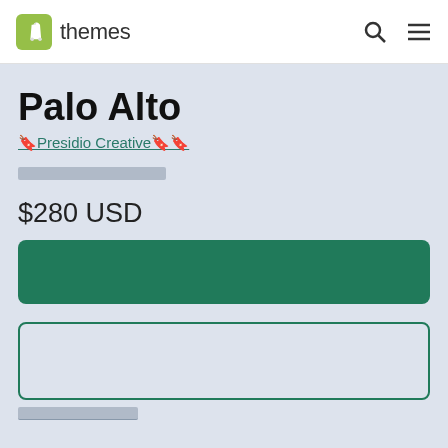Shopify themes
Palo Alto
🔖Presidio Creative🔖🔖
[rating placeholder]
$280 USD
[Figure (other): Green buy/get theme button]
[Figure (other): Try theme input/text box with teal border]
[try theme link placeholder]